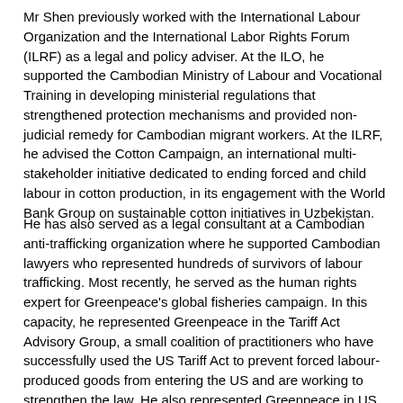Mr Shen previously worked with the International Labour Organization and the International Labor Rights Forum (ILRF) as a legal and policy adviser. At the ILO, he supported the Cambodian Ministry of Labour and Vocational Training in developing ministerial regulations that strengthened protection mechanisms and provided non-judicial remedy for Cambodian migrant workers. At the ILRF, he advised the Cotton Campaign, an international multi-stakeholder initiative dedicated to ending forced and child labour in cotton production, in its engagement with the World Bank Group on sustainable cotton initiatives in Uzbekistan.
He has also served as a legal consultant at a Cambodian anti-trafficking organization where he supported Cambodian lawyers who represented hundreds of survivors of labour trafficking. Most recently, he served as the human rights expert for Greenpeace's global fisheries campaign. In this capacity, he represented Greenpeace in the Tariff Act Advisory Group, a small coalition of practitioners who have successfully used the US Tariff Act to prevent forced labour-produced goods from entering the US and are working to strengthen the law. He also represented Greenpeace in US legislative initiatives relating to modern slavery in global value chains.